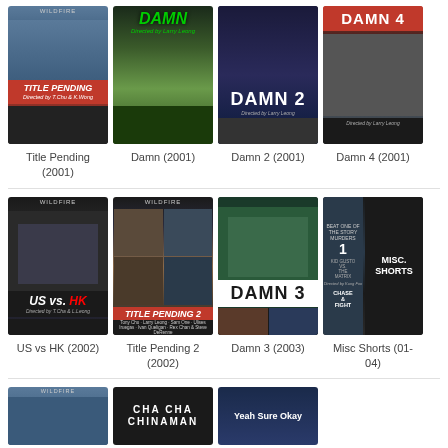[Figure (photo): Title Pending (2001) movie poster - martial arts film]
Title Pending (2001)
[Figure (photo): Damn (2001) movie poster - martial arts film]
Damn (2001)
[Figure (photo): Damn 2 (2001) movie poster - martial arts film]
Damn 2 (2001)
[Figure (photo): Damn 4 (2001) movie poster - martial arts film]
Damn 4 (2001)
[Figure (photo): US vs HK (2002) movie poster - martial arts film]
US vs HK (2002)
[Figure (photo): Title Pending 2 (2002) movie poster - martial arts film]
Title Pending 2 (2002)
[Figure (photo): Damn 3 (2003) movie poster - martial arts film]
Damn 3 (2003)
[Figure (photo): Misc Shorts (01-04) movie poster]
Misc Shorts (01-04)
[Figure (photo): Partial poster row at bottom - third row of films]
Cha Cha Chinaman
Yeah Sure Okay